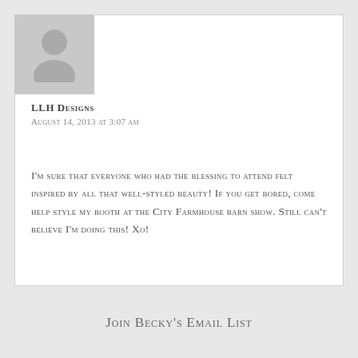[Figure (illustration): Grey avatar/profile placeholder icon showing a generic person silhouette on a grey background square]
LLH Designs
August 14, 2013 at 3:07 am
I'm sure that everyone who had the blessing to attend felt inspired by all that well-styled beauty! If you get bored, come help style my booth at the City Farmhouse barn show. Still can't believe I'm doing this! Xo!
Join Becky's Email List